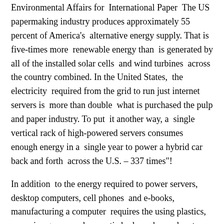Environmental Affairs for International Paper The US papermaking industry produces approximately 55 percent of America's alternative energy supply. That is five-times more renewable energy than is generated by all of the installed solar cells and wind turbines across the country combined. In the United States, the electricity required from the grid to run just internet servers is more than double what is purchased the pulp and paper industry. To put it another way, a single vertical rack of high-powered servers consumes enough energy in a single year to power a hybrid car back and forth across the U.S. – 337 times"!
In addition to the energy required to power servers, desktop computers, cell phones and e-books, manufacturing a computer requires the using plastics, corrosive gasses and aromatic hydrocarbon solvents, plus the mining and refining of dozens of minerals and metals